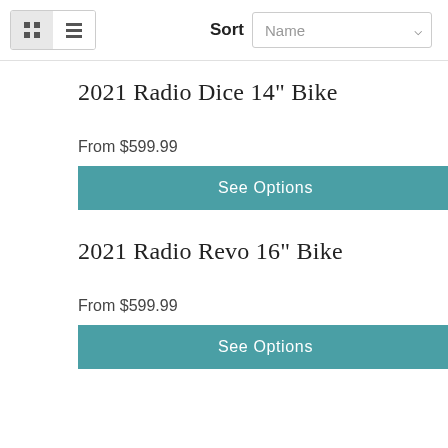[Figure (screenshot): Toolbar with grid/list view toggle buttons and a Sort dropdown showing 'Name']
2021 Radio Dice 14" Bike
From $599.99
See Options
2021 Radio Revo 16" Bike
From $599.99
See Options